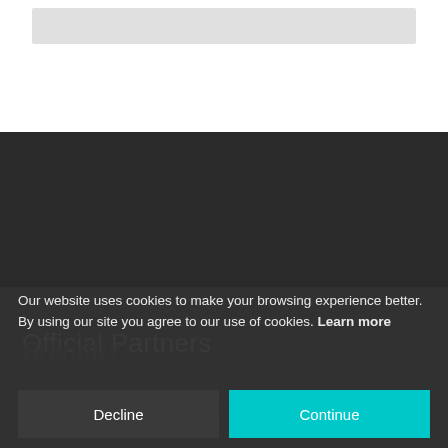[Figure (other): Gray placeholder image bar at top of page]
Official Partners
[Figure (logo): Three partner logos: opto, GNIP, and LEXALYTICS shown in white on dark background]
Our website uses cookies to make your browsing experience better. By using our site you agree to our use of cookies. Learn more
Brandtix
info@brandtix.com
©2022 Brandtix